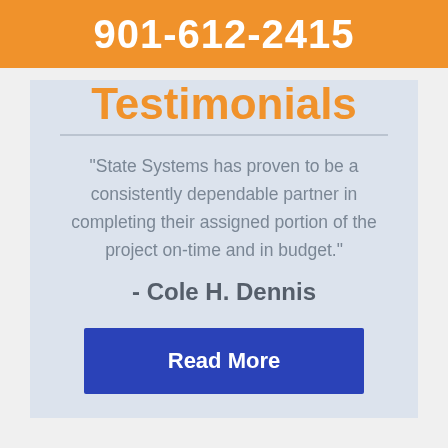901-612-2415
Testimonials
“State Systems has proven to be a consistently dependable partner in completing their assigned portion of the project on-time and in budget.”
- Cole H. Dennis
Read More